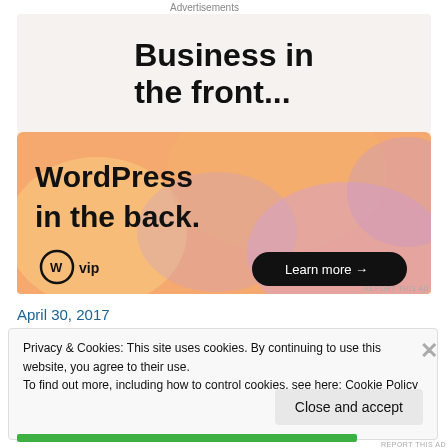Advertisements
[Figure (illustration): WordPress VIP advertisement. Top section on light gray background reads 'Business in the front...' in large bold text. Bottom section has a colorful gradient background (orange, pink, lavender) with text 'WordPress in the back.' and the WordPress VIP logo on the left and a 'Learn more →' button in a dark pill shape on the right.]
REPORT THIS AD
April 30, 2017
Privacy & Cookies: This site uses cookies. By continuing to use this website, you agree to their use.
To find out more, including how to control cookies, see here: Cookie Policy
Close and accept